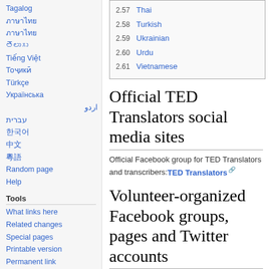Tagalog
ภาษาไทย
Türkçe (sidebar)
Tiếng Việt
Тоҷикӣ
Türkçe
Українська
اردو
עברית
한국어
中文
粵語
Random page
Help
Tools
What links here
Related changes
Special pages
Printable version
Permanent link
Page information
| Number | Language |
| --- | --- |
| 2.57 | Thai |
| 2.58 | Turkish |
| 2.59 | Ukrainian |
| 2.60 | Urdu |
| 2.61 | Vietnamese |
Official TED Translators social media sites
Official Facebook group for TED Translators and transcribers: TED Translators
Volunteer-organized Facebook groups, pages and Twitter accounts